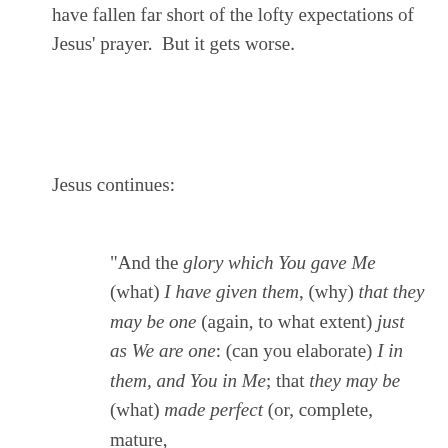have fallen far short of the lofty expectations of Jesus' prayer.  But it gets worse.
Jesus continues:
“And the glory which You gave Me (what) I have given them, (why) that they may be one (again, to what extent) just as We are one: (can you elaborate) I in them, and You in Me; that they may be (what) made perfect (or, complete, mature,